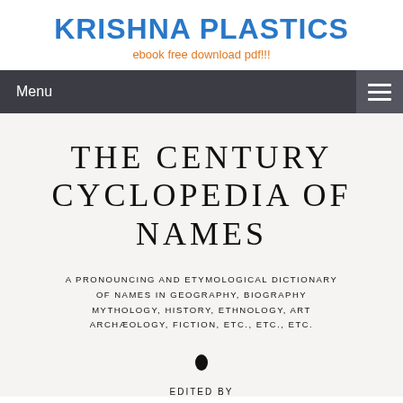KRISHNA PLASTICS
ebook free download pdf!!!
Menu
THE CENTURY CYCLOPEDIA OF NAMES
A PRONOUNCING AND ETYMOLOGICAL DICTIONARY OF NAMES IN GEOGRAPHY, BIOGRAPHY MYTHOLOGY, HISTORY, ETHNOLOGY, ART ARCHÆOLOGY, FICTION, ETC., ETC., ETC.
[Figure (illustration): Small decorative ornament/fleuron symbol]
EDITED BY